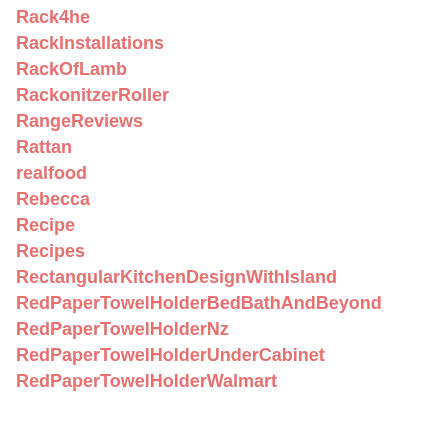Rack4he
RackInstallations
RackOfLamb
RackonitzerRoller
RangeReviews
Rattan
realfood
Rebecca
Recipe
Recipes
RectangularKitchenDesignWithIsland
RedPaperTowelHolderBedBathAndBeyond
RedPaperTowelHolderNz
RedPaperTowelHolderUnderCabinet
RedPaperTowelHolderWalmart